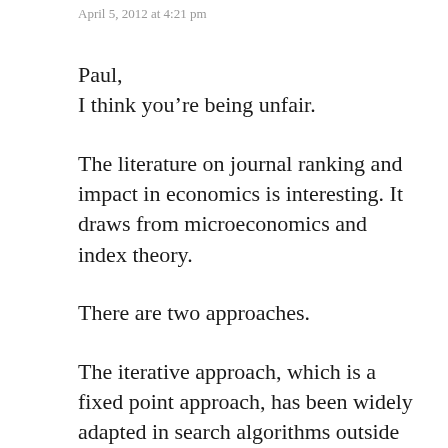April 5, 2012 at 4:21 pm
Paul,
I think you’re being unfair.
The literature on journal ranking and impact in economics is interesting. It draws from microeconomics and index theory.
There are two approaches.
The iterative approach, which is a fixed point approach, has been widely adapted in search algorithms outside of economics. Its computational properties are well studied. Its economic properties are not so well understood but some people have shown various